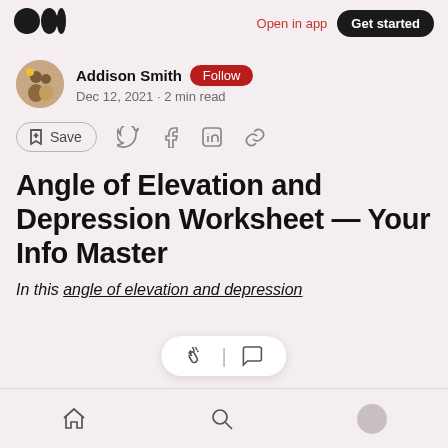Medium logo | Open in app | Get started
Addison Smith · Follow · Dec 12, 2021 · 2 min read
Save (bookmark icon) | Twitter | Facebook | LinkedIn | Link
Angle of Elevation and Depression Worksheet — Your Info Master
In this angle of elevation and depression